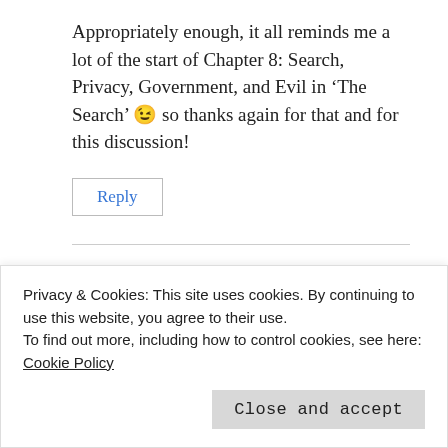Appropriately enough, it all reminds me a lot of the start of Chapter 8: Search, Privacy, Government, and Evil in ‘The Search’ 😉 so thanks again for that and for this discussion!
Reply
Anonymous
Privacy & Cookies: This site uses cookies. By continuing to use this website, you agree to their use.
To find out more, including how to control cookies, see here: Cookie Policy
Close and accept